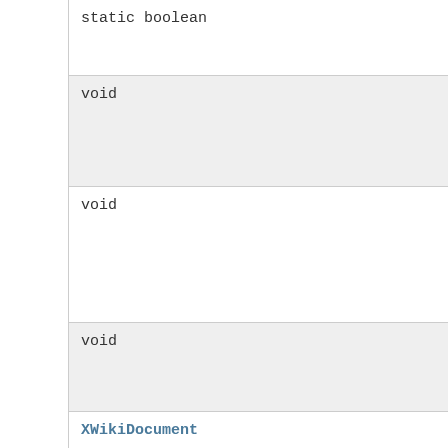static boolean
void
void
void
XWikiDocument
XWikiDocument
int